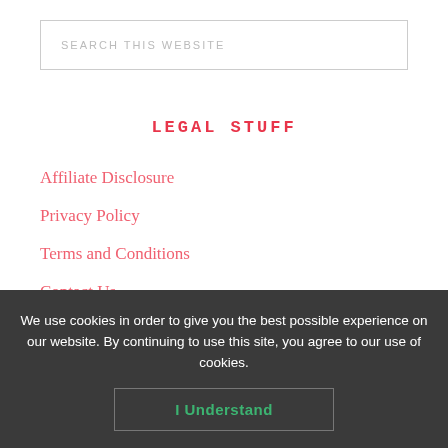SEARCH THIS WEBSITE
LEGAL STUFF
Affiliate Disclosure
Privacy Policy
Terms and Conditions
Contact Us
Sitemap
We use cookies in order to give you the best possible experience on our website. By continuing to use this site, you agree to our use of cookies.
I Understand